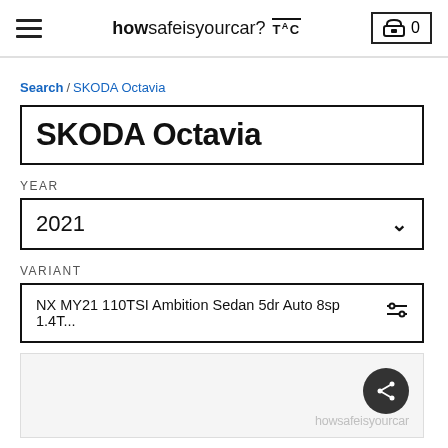howsafeisyourcar? TAC  0
Search / SKODA Octavia
SKODA Octavia
YEAR
2021
VARIANT
NX MY21 110TSI Ambition Sedan 5dr Auto 8sp 1.4T...
[Figure (screenshot): Bottom card/panel with share button and howsafeisyourcar watermark]